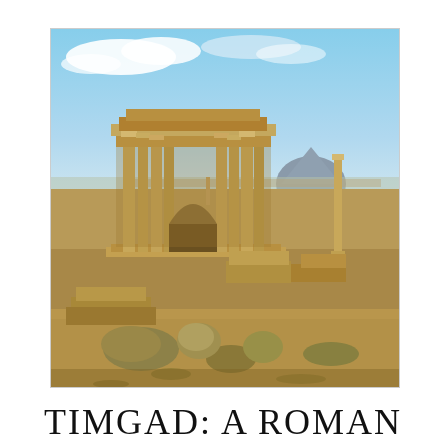[Figure (photo): Photograph of the ancient Roman ruins of Timgad, Algeria. Shows the Arch of Trajan and surrounding ruins with scattered stone blocks and column remnants in the foreground, and a solitary standing column to the right. A pyramid-shaped mountain is visible in the background under a blue sky with light clouds.]
TIMGAD: A ROMAN